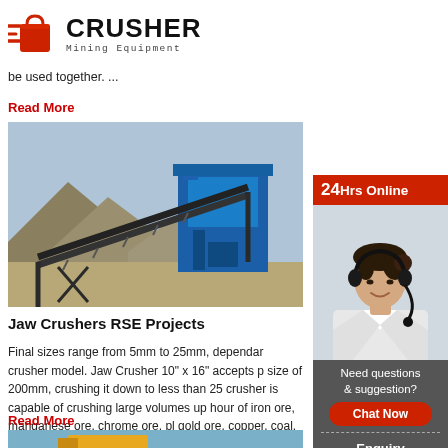CRUSHER Mining Equipment
be used together. ...
Read More
[Figure (photo): Industrial conveyor belt and crushing equipment on a mountainous construction site with blue machinery]
Jaw Crushers RSE Projects
Final sizes range from 5mm to 25mm, dependar crusher model. Jaw Crusher 10" x 16" accepts p size of 200mm, crushing it down to less than 25 crusher is capable of crushing large volumes up hour of iron ore, manganese ore, chrome ore, pl gold ore, copper, coal. Jaw Crusher 6" x 10 ...
Read More
[Figure (photo): Yellow construction equipment / excavator at bottom of page]
[Figure (photo): 24Hrs Online sidebar with customer service agent wearing headset, chat button, enquiry and email contact]
24Hrs Online
Need questions & suggestion?
Chat Now
Enquiry
limingjlmofen@sina.com